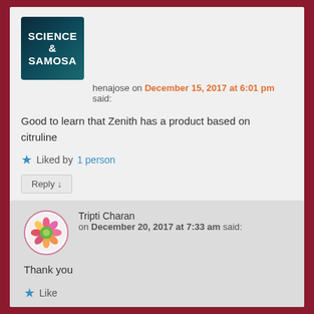[Figure (logo): Science & Samosa logo - dark teal background with white bold text]
henajose on December 15, 2017 at 6:01 pm said:
Good to learn that Zenith has a product based on citruline
★ Liked by 1 person
Reply ↓
[Figure (photo): Tripti Charan avatar - circular photo of a flower bouquet]
Tripti Charan on December 20, 2017 at 7:33 am said:
Thank you
★ Like
Reply ↓